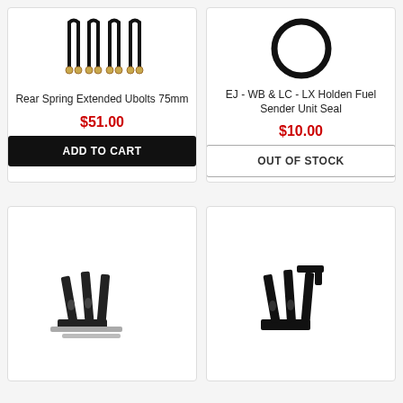[Figure (photo): Rear Spring Extended Ubolts 75mm product image showing four black U-bolts with gold ends]
Rear Spring Extended Ubolts 75mm
$51.00
ADD TO CART
[Figure (photo): EJ-WB & LC-LX Holden Fuel Sender Unit Seal product image showing a black circular rubber seal/O-ring]
EJ - WB & LC - LX Holden Fuel Sender Unit Seal
$10.00
OUT OF STOCK
[Figure (photo): Bottom-left product image showing black metal bonnet hinges with silver rod]
[Figure (photo): Bottom-right product image showing black metal bonnet hinges]